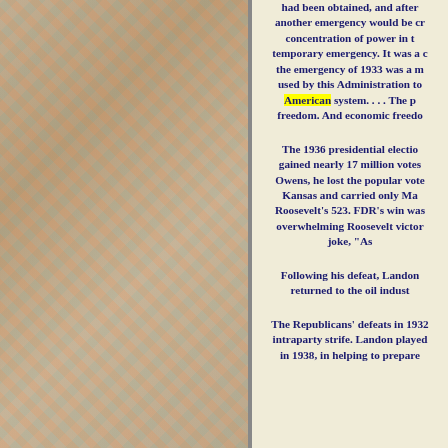[Figure (photo): Left half of the page showing a collage of colorful miscellaneous items, toys, packaging, and everyday objects as a decorative background.]
had been obtained, and after another emergency would be cr concentration of power in t temporary emergency. It was a c the emergency of 1933 was a m used by this Administration to American system. . . . The p freedom. And economic freedo
The 1936 presidential electio gained nearly 17 million votes Owens, he lost the popular vote Kansas and carried only Ma Roosevelt's 523. FDR's win was overwhelming Roosevelt victor joke, "As
Following his defeat, Landon returned to the oil indust
The Republicans' defeats in 1932 intraparty strife. Landon played in 1938, in helping to prepare